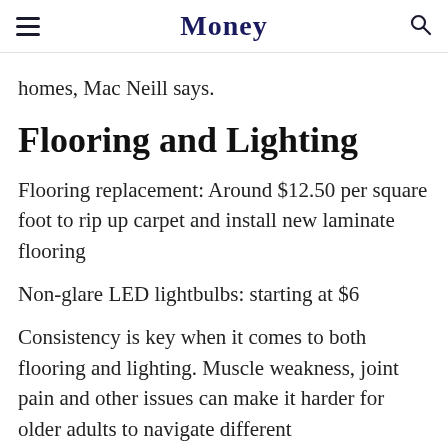Money
homes, Mac Neill says.
Flooring and Lighting
Flooring replacement: Around $12.50 per square foot to rip up carpet and install new laminate flooring
Non-glare LED lightbulbs: starting at $6
Consistency is key when it comes to both flooring and lighting. Muscle weakness, joint pain and other issues can make it harder for older adults to navigate different